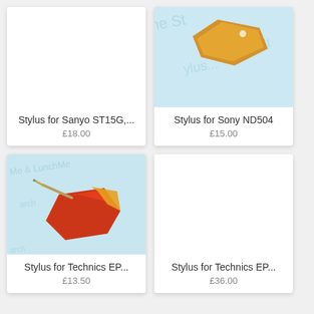[Figure (photo): Blank white product image area for Stylus for Sanyo ST15G]
Stylus for Sanyo ST15G,...
£18.00
[Figure (photo): Photo of an amber/orange phonograph stylus on a light blue background with text watermark]
Stylus for Sony ND504
£15.00
[Figure (photo): Photo of a red/orange phonograph stylus with gold needle on light blue background with watermark text]
Stylus for Technics EP...
£13.50
[Figure (photo): Blank white product image area for second Technics EP stylus]
Stylus for Technics EP...
£36.00